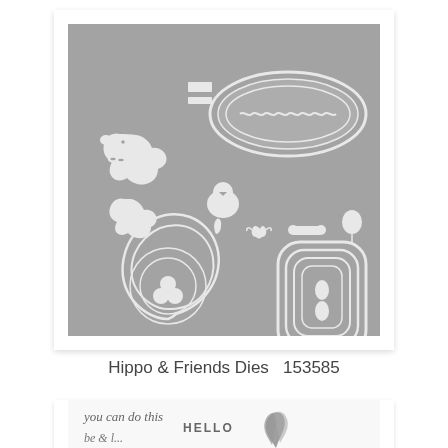[Figure (photo): Product photo of Hippo & Friends Dies set (item 153585) showing white die-cut shapes on a gray background: hippo outline, baby hippo, small bird/animal, bone shape, balloon, a wavy oval label frame, nested scalloped circle dies, nested rounded rectangle/octagon dies, and small decorative elements, displayed on a white card with subtle shadow.]
Hippo & Friends Dies  153585
[Figure (photo): Partial view of a greeting card or stamp set sample showing cursive script text 'you can do this' and 'HELLO' in block letters, with illustrated leaf/botanical elements on the right side, on a white background.]